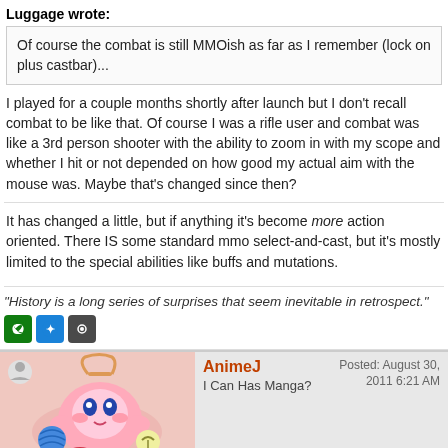Luggage wrote:
Of course the combat is still MMOish as far as I remember (lock on plus castbar)...
I played for a couple months shortly after launch but I don't recall combat to be like that. Of course I was a rifle user and combat was like a 3rd person shooter with the ability to zoom in with my scope and whether I hit or not depended on how good my actual aim with the mouse was. Maybe that's changed since then?
It has changed a little, but if anything it's become more action oriented. There IS some standard mmo select-and-cast, but it's mostly limited to the special abilities like buffs and mutations.
"History is a long series of surprises that seem inevitable in retrospect."
[Figure (infographic): Three gaming platform icons: Xbox (green), Battle.net (blue), Steam (dark grey)]
AnimeJ — I Can Has Manga? — Posted: August 30, 2011 6:21 AM
So I saw a blogger talking about this the other day and DL'd/Installed it. For